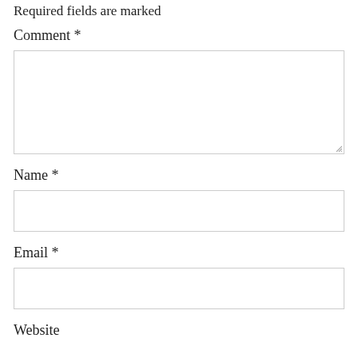Required fields are marked
Comment *
[Figure (other): Large comment text area input box with resize handle at bottom right]
Name *
[Figure (other): Single-line name text input box]
Email *
[Figure (other): Single-line email text input box]
Website